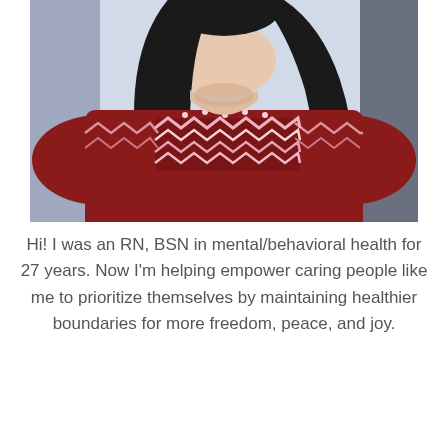[Figure (photo): Photo of a woman with dark hair wearing a dark red/maroon fair isle sweater with pink and white decorative pattern. The image is cropped from the shoulders up, showing the torso and lower face area.]
Hi! I was an RN, BSN in mental/behavioral health for 27 years. Now I'm helping empower caring people like me to prioritize themselves by maintaining healthier boundaries for more freedom, peace, and joy.